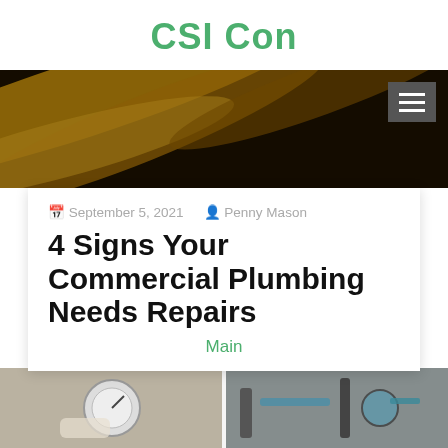CSI Con
[Figure (photo): Dark golden abstract swirled background with bokeh effect, suggesting a plumbing or industrial context. Hamburger menu button in top right corner.]
September 5, 2021  Penny Mason
4 Signs Your Commercial Plumbing Needs Repairs
Main
[Figure (photo): Two-panel image of commercial plumbing equipment: left panel shows gloved hands with pressure gauge on pipes; right panel shows industrial pipe fittings and hoses.]